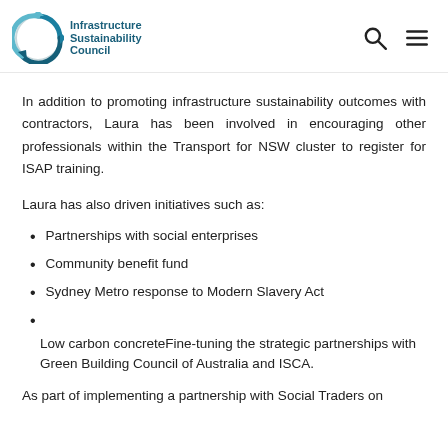Infrastructure Sustainability Council
In addition to promoting infrastructure sustainability outcomes with contractors, Laura has been involved in encouraging other professionals within the Transport for NSW cluster to register for ISAP training.
Laura has also driven initiatives such as:
Partnerships with social enterprises
Community benefit fund
Sydney Metro response to Modern Slavery Act
Low carbon concreteFine-tuning the strategic partnerships with Green Building Council of Australia and ISCA.
As part of implementing a partnership with Social Traders on